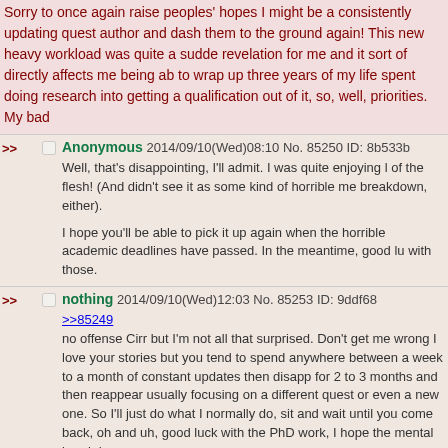Sorry to once again raise peoples' hopes I might be a consistently updating quest author and dash them to the ground again! This new heavy workload was quite a sudden revelation for me and it sort of directly affects me being able to wrap up three years of my life spent doing research into getting a qualification out of it, so, well, priorities. My bad
Anonymous 2014/09/10(Wed)08:10 No. 85250 ID: 8b533b
Well, that's disappointing, I'll admit. I was quite enjoying l... of the flesh! (And didn't see it as some kind of horrible me... breakdown, either). I hope you'll be able to pick it up again when the horrible academic deadlines have passed. In the meantime, good lu... with those.
nothing 2014/09/10(Wed)12:03 No. 85253 ID: 9ddf68
>>85249
no offense Cirr but I'm not all that surprised. Don't get me wrong I love your stories but you tend to spend anywhere between a week to a month of constant updates then disapp... for 2 to 3 months and then reappear usually focusing on a different quest or even a new one. So I'll just do what I normally do, sit and wait until you come back, oh and uh, good luck with the PhD work, I hope the mental breakdown...